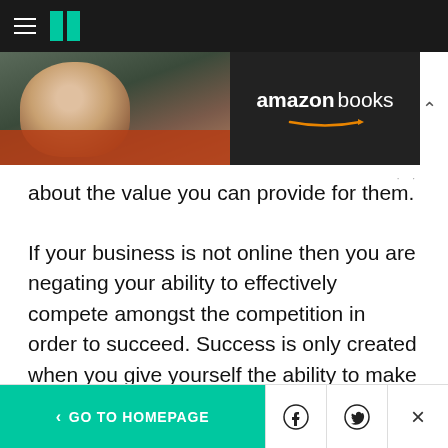HuffPost navigation header with hamburger menu and logo
[Figure (screenshot): Amazon Books advertisement banner showing a bald man and Amazon Books logo on dark background]
about the value you can provide for them.
If your business is not online then you are negating your ability to effectively compete amongst the competition in order to succeed. Success is only created when you give yourself the ability to make it a realization. Your business must be positioned to win and having a strong online presence is a major factor in enhancing your ability to succeed in your efforts.
< GO TO HOMEPAGE  [Facebook icon]  [Twitter icon]  [X/Close]